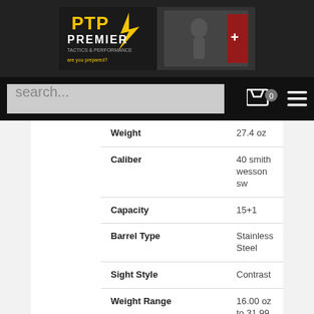[Figure (logo): PTP Premier Tactics & Performance logo banner with shooter in background]
search...
| Attribute | Value |
| --- | --- |
| Weight | 27.4 oz |
| Caliber | 40 smith wesson sw |
| Capacity | 15+1 |
| Barrel Type | Stainless Steel |
| Sight Style | Contrast |
| Weight Range | 16.00 oz to 31.99 oz |
| Barrel Length | 5" |
| Frame Material | Polymer |
| Slide Description | Flat Dark Earth Stainless Steel |
| Barrel Length | 5.00" to 5.99" |